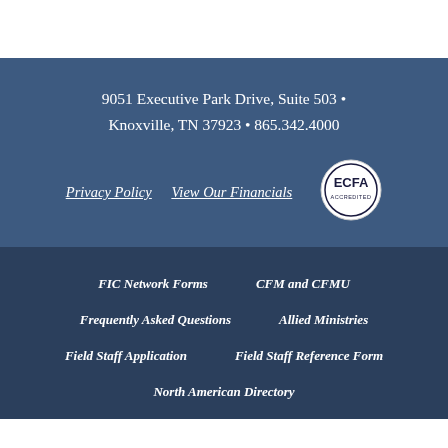9051 Executive Park Drive, Suite 503 • Knoxville, TN 37923 • 865.342.4000
Privacy Policy    View Our Financials
[Figure (logo): ECFA accredited circular badge/seal]
FIC Network Forms
CFM and CFMU
Frequently Asked Questions
Allied Ministries
Field Staff Application
Field Staff Reference Form
North American Directory